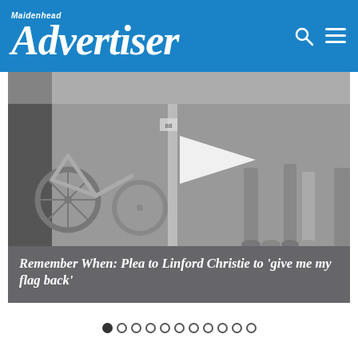Maidenhead Advertiser
[Figure (photo): Black and white photograph showing bicycles and people's legs/feet at what appears to be a crowded outdoor event or race]
Remember When: Plea to Linford Christie to 'give me my flag back'
[Figure (infographic): Carousel navigation dots: one filled circle followed by ten open circles]